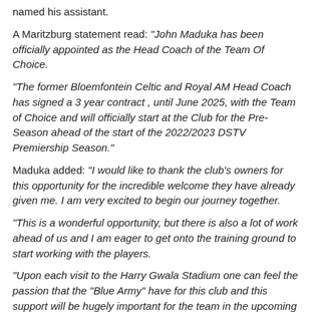named his assistant.
A Maritzburg statement read: "John Maduka has been officially appointed as the Head Coach of the Team Of Choice.
"The former Bloemfontein Celtic and Royal AM Head Coach has signed a 3 year contract , until June 2025, with the Team of Choice and will officially start at the Club for the Pre-Season ahead of the start of the 2022/2023 DSTV Premiership Season."
Maduka added: "I would like to thank the club's owners for this opportunity for the incredible welcome they have already given me. I am very excited to begin our journey together.
"This is a wonderful opportunity, but there is also a lot of work ahead of us and I am eager to get onto the training ground to start working with the players.
"Upon each visit to the Harry Gwala Stadium one can feel the passion that the "Blue Army" have for this club and this support will be hugely important for the team in the upcoming season.
"I feel my ambition, together with my work ethics, can work to achieve the desired results for the club."